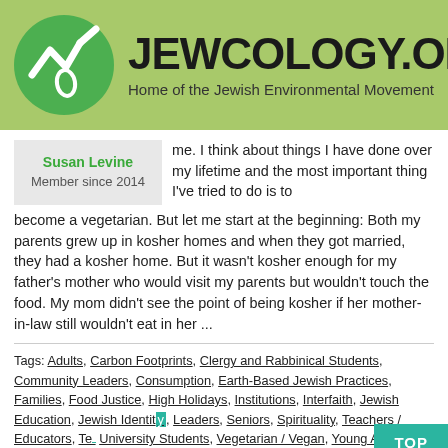JEWCOLOGY.ORG — Home of the Jewish Environmental Movement
Susan Levine
Member since 2014
me. I think about things I have done over my lifetime and the most important thing I've tried to do is to become a vegetarian. But let me start at the beginning: Both my parents grew up in kosher homes and when they got married, they had a kosher home. But it wasn't kosher enough for my father's mother who would visit my parents but wouldn't touch the food. My mom didn't see the point of being kosher if her mother-in-law still wouldn't eat in her ...
Tags: Adults, Carbon Footprints, Clergy and Rabbinical Students, Community Leaders, Consumption, Earth-Based Jewish Practices, Families, Food Justice, High Holidays, Institutions, Interfaith, Jewish Education, Jewish Identity, Leaders, Seniors, Spirituality, Teachers / Educators, Teachers / University Students, Vegetarian / Vegan, Young Adults